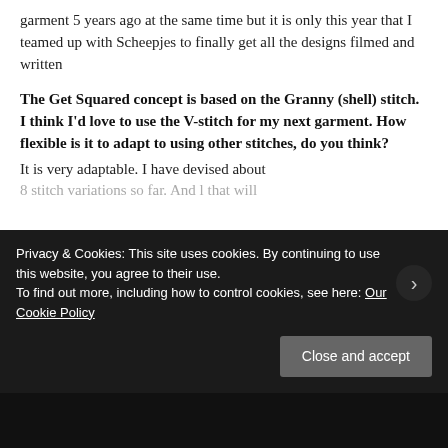garment 5 years ago at the same time but it is only this year that I teamed up with Scheepjes to finally get all the designs filmed and written
The Get Squared concept is based on the Granny (shell) stitch. I think I’d love to use the V-stitch for my next garment. How flexible is it to adapt to using other stitches, do you think?
It is very adaptable. I have devised about
8 stitch variations so far. And l that will
Privacy & Cookies: This site uses cookies. By continuing to use this website, you agree to their use.
To find out more, including how to control cookies, see here: Our Cookie Policy
Close and accept